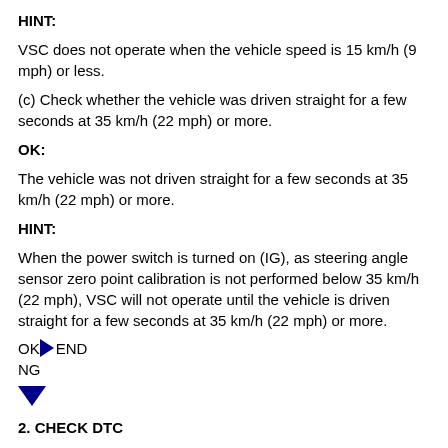HINT:
VSC does not operate when the vehicle speed is 15 km/h (9 mph) or less.
(c) Check whether the vehicle was driven straight for a few seconds at 35 km/h (22 mph) or more.
OK:
The vehicle was not driven straight for a few seconds at 35 km/h (22 mph) or more.
HINT:
When the power switch is turned on (IG), as steering angle sensor zero point calibration is not performed below 35 km/h (22 mph), VSC will not operate until the vehicle is driven straight for a few seconds at 35 km/h (22 mph) or more.
OK ▶ END
NG
[Figure (infographic): Blue downward arrow indicating NG path]
2. CHECK DTC